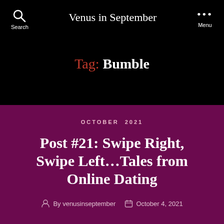Venus in September
Tag: Bumble
OCTOBER 2021
Post #21: Swipe Right, Swipe Left…Tales from Online Dating
By venusinseptember   October 4, 2021